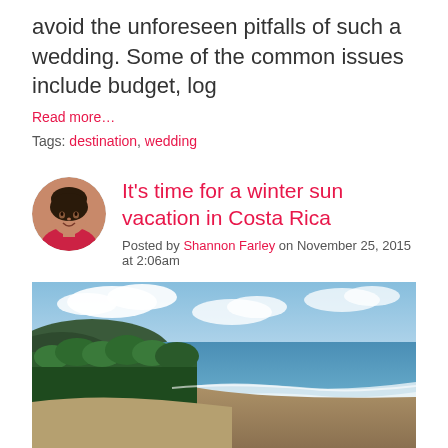avoid the unforeseen pitfalls of such a wedding. Some of the common issues include budget, log
Read more…
Tags: destination, wedding
[Figure (photo): Circular avatar photo of Shannon Farley, a woman in a red top, smiling]
It's time for a winter sun vacation in Costa Rica
Posted by Shannon Farley on November 25, 2015 at 2:06am
[Figure (photo): Aerial view of a tropical Costa Rica beach with waves, palm trees, and blue sky with clouds]